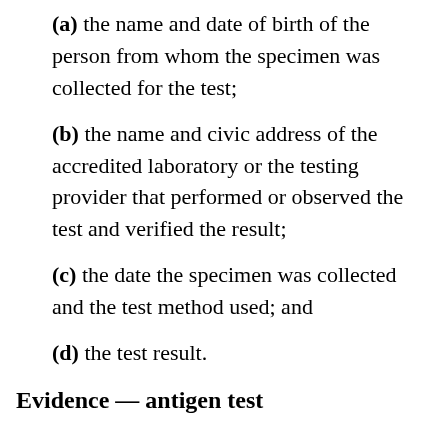(a) the name and date of birth of the person from whom the specimen was collected for the test;
(b) the name and civic address of the accredited laboratory or the testing provider that performed or observed the test and verified the result;
(c) the date the specimen was collected and the test method used; and
(d) the test result.
Evidence — antigen test